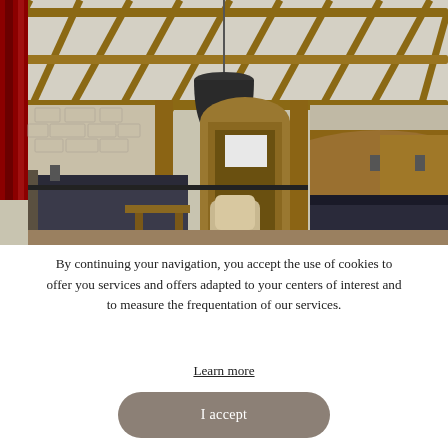[Figure (photo): Interior of a historic room with exposed wooden beam ceiling, a black pendant lamp hanging from the center, stone walls, dark upholstered bench seating, a wooden arched doorway in the background leading to another room, a small wooden coffee table, a wicker chair, and a large ornate wooden structure on the right side. Red curtains visible on the left.]
By continuing your navigation, you accept the use of cookies to offer you services and offers adapted to your centers of interest and to measure the frequentation of our services.
Learn more
I accept